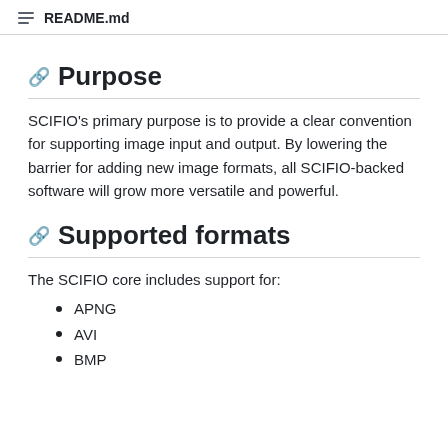README.md
Purpose
SCIFIO's primary purpose is to provide a clear convention for supporting image input and output. By lowering the barrier for adding new image formats, all SCIFIO-backed software will grow more versatile and powerful.
Supported formats
The SCIFIO core includes support for:
APNG
AVI
BMP